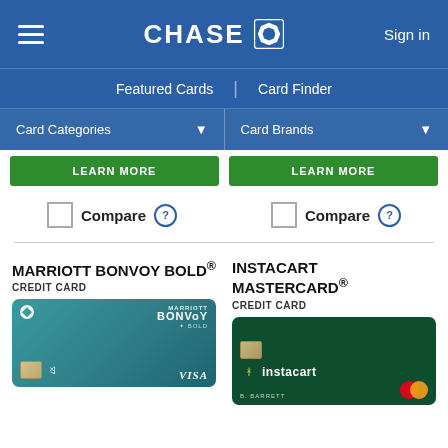[Figure (screenshot): Chase website navigation header with hamburger menu, Chase logo, and Sign in button]
Featured Cards | Card Finder
Card Categories ▼    Card Brands ▼
Learn more (two green buttons)
Compare ? (two checkboxes with Compare labels)
MARRIOTT BONVOY BOLD®
CREDIT CARD
[Figure (photo): Marriott Bonvoy Bold credit card image on teal background with Visa branding]
INSTACART MASTERCARD®
CREDIT CARD
[Figure (photo): Instacart Mastercard credit card image on dark green background with Instacart logo]